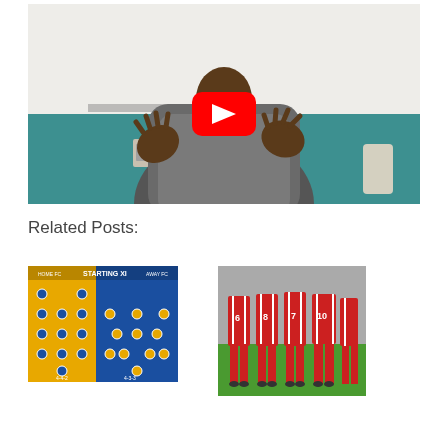[Figure (screenshot): YouTube video thumbnail showing a man in a gray jacket gesturing with hands in front of a whiteboard, with a red YouTube play button overlay in the center]
Related Posts:
[Figure (screenshot): Soccer/football starting XI formation card with yellow background on left side and blue background on right side, showing player positions with icons and formation numbers 4-4-2 and 4-3-3]
[Figure (photo): Soccer players wearing red uniforms with numbers 6, 8, 7, 10 on their backs, standing in a row on a green grass field, seen from behind waist down]